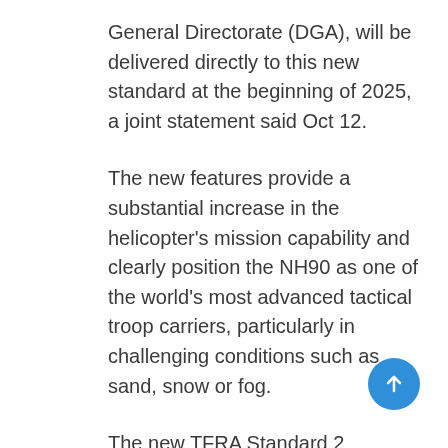General Directorate (DGA), will be delivered directly to this new standard at the beginning of 2025, a joint statement said Oct 12.
The new features provide a substantial increase in the helicopter's mission capability and clearly position the NH90 as one of the world's most advanced tactical troop carriers, particularly in challenging conditions such as sand, snow or fog.
The new TFRA Standard 2 configuration will incorporate a new-generation Electro-Optical System (EOS) EuroFLIR™ from Safran with displays and controls for both the pilots, commandos, gunners and load masters. The sensors will provide outputs to undertake updated